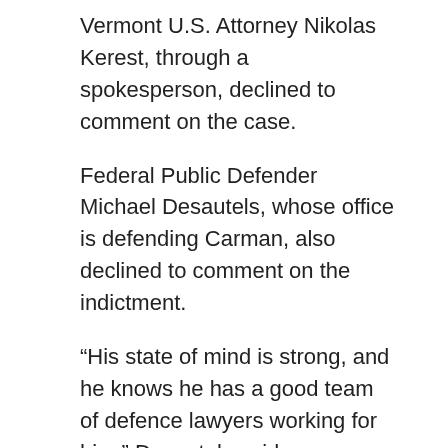Vermont U.S. Attorney Nikolas Kerest, through a spokesperson, declined to comment on the case.
Federal Public Defender Michael Desautels, whose office is defending Carman, also declined to comment on the indictment.
“His state of mind is strong, and he knows he has a good team of defence lawyers working for him,” Desautels said.
Some law enforcement officials who were involved in the investigation said the indictment could be the result of new evidence that is not being disclosed. Or, perhaps, federal prosecutors in Vermont were more aggressive in assembling all the evidence collected by a